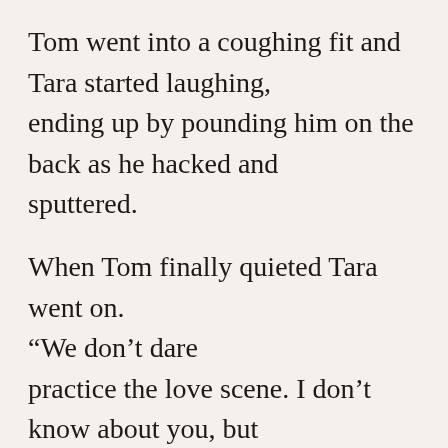Tom went into a coughing fit and Tara started laughing, ending up by pounding him on the back as he hacked and sputtered.

When Tom finally quieted Tara went on. “We don’t dare practice the love scene. I don’t know about you, but I’m barely in control of myself right now, and if we practice… making love… lo, uh, well,